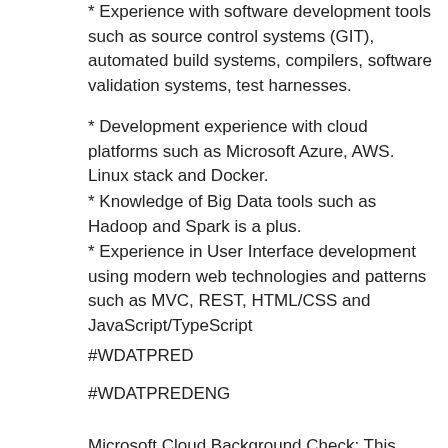* Experience with software development tools such as source control systems (GIT), automated build systems, compilers, software validation systems, test harnesses.
* Development experience with cloud platforms such as Microsoft Azure, AWS. Linux stack and Docker.
* Knowledge of Big Data tools such as Hadoop and Spark is a plus.
* Experience in User Interface development using modern web technologies and patterns such as MVC, REST, HTML/CSS and JavaScript/TypeScript
#WDATPRED
#WDATPREDENG
Microsoft Cloud Background Check: This position will be required to pass the Microsoft Cloud background check upon hire/transfer and every two years thereafter.
Microsoft is an equal opportunity employer. All qualified applicants will receive consideration for employment without regard to age, ancestry, color, family or medical care leave, gender identity or expression, genetic